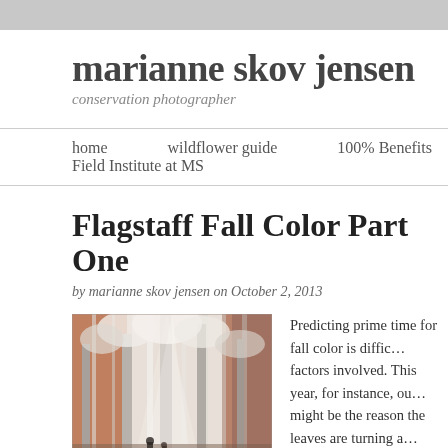marianne skov jensen
conservation photographer
home   wildflower guide   100% Benefits Field Institute at MS
Flagstaff Fall Color Part One
by marianne skov jensen on October 2, 2013
[Figure (photo): Infrared-style photograph of aspen trees with white foliage and reddish-brown tones, two figures visible among trees]
Predicting prime time for fall color is diffic... factors involved. This year, for instance, ou... might be the reason the leaves are turning a... years but who knows?! I was prepared for n... converted camera. Here are some of my fav...